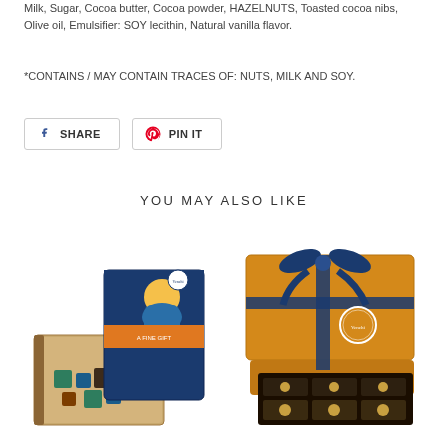Milk, Sugar, Cocoa butter, Cocoa powder, HAZELNUTS, Toasted cocoa nibs, Olive oil, Emulsifier: SOY lecithin, Natural vanilla flavor.
*CONTAINS / MAY CONTAIN TRACES OF: NUTS, MILK AND SOY.
[Figure (other): Facebook Share button and Pinterest Pin It button]
YOU MAY ALSO LIKE
[Figure (photo): Chocolate gift set with a wooden book-shaped box containing mixed chocolates and a decorative tin with a winter character illustration]
[Figure (photo): Orange gift box with a navy blue ribbon bow and a tray of assorted chocolates]